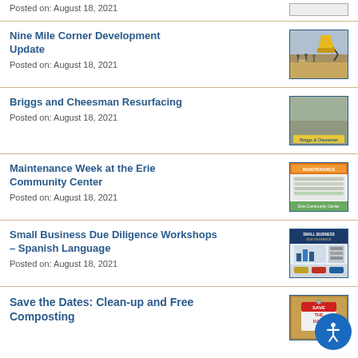Posted on: August 18, 2021
Nine Mile Corner Development Update
Posted on: August 18, 2021
[Figure (photo): Construction site with excavator and workers]
Briggs and Cheesman Resurfacing
Posted on: August 18, 2021
[Figure (photo): Resurfacing project flyer with Briggs & Cheesman text]
Maintenance Week at the Erie Community Center
Posted on: August 18, 2021
[Figure (photo): Maintenance week flyer with orange header and green footer]
Small Business Due Diligence Workshops – Spanish Language
Posted on: August 18, 2021
[Figure (photo): Small business workshop flyer with dark blue header]
Save the Dates: Clean-up and Free Composting
[Figure (photo): Save the Date sign on corkboard]